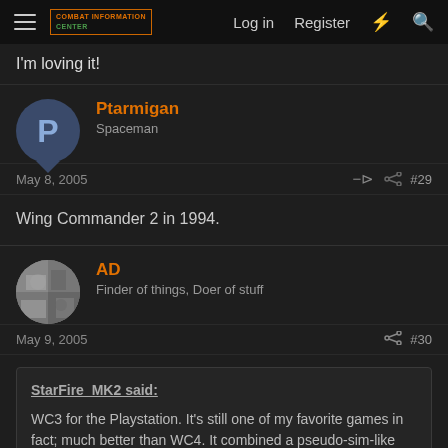Combat Information Center — Log in   Register
I'm loving it!
Ptarmigan
Spaceman
May 8, 2005  #29
Wing Commander 2 in 1994.
AD
Finder of things, Doer of stuff
May 9, 2005  #30
StarFire_MK2 said:

WC3 for the Playstation. It's still one of my favorite games in fact; much better than WC4. It combined a pseudo-sim-like feel with a shooter. WC4 was ok, but I missed some of the features of WC3.